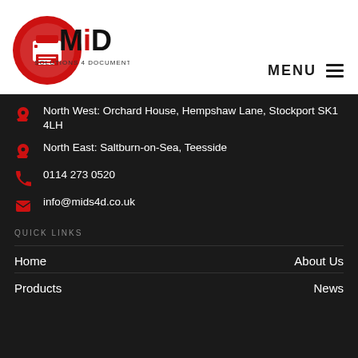[Figure (logo): MiD Solutions 4 Documents logo — red circular icon with printer/document image, bold black MiD text, small red and black tagline 'SOLUTIONS 4 DOCUMENTS']
MENU ☰
North West: Orchard House, Hempshaw Lane, Stockport SK1 4LH
North East: Saltburn-on-Sea, Teesside
0114 273 0520
info@mids4d.co.uk
QUICK LINKS
Home
About Us
Products
News